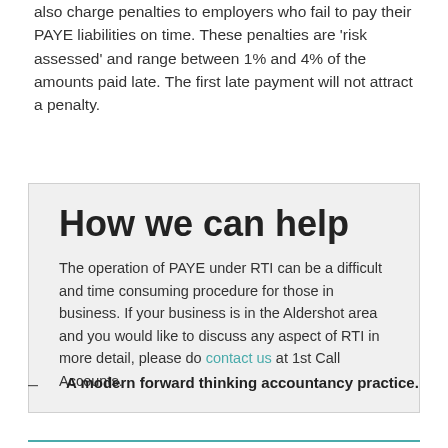also charge penalties to employers who fail to pay their PAYE liabilities on time. These penalties are 'risk assessed' and range between 1% and 4% of the amounts paid late. The first late payment will not attract a penalty.
How we can help
The operation of PAYE under RTI can be a difficult and time consuming procedure for those in business. If your business is in the Aldershot area and you would like to discuss any aspect of RTI in more detail, please do contact us at 1st Call Accounts.
A modern forward thinking accountancy practice.
Self assessment Accounts and Tax returns